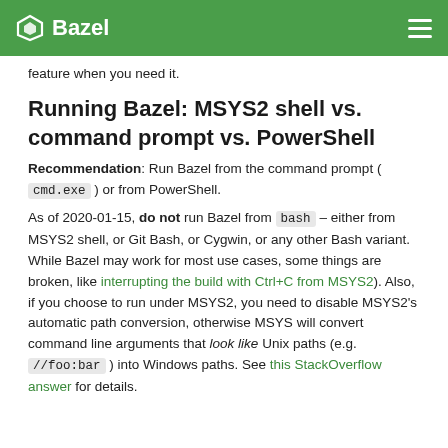Bazel
feature when you need it.
Running Bazel: MSYS2 shell vs. command prompt vs. PowerShell
Recommendation: Run Bazel from the command prompt (cmd.exe) or from PowerShell.
As of 2020-01-15, do not run Bazel from bash – either from MSYS2 shell, or Git Bash, or Cygwin, or any other Bash variant. While Bazel may work for most use cases, some things are broken, like interrupting the build with Ctrl+C from MSYS2). Also, if you choose to run under MSYS2, you need to disable MSYS2's automatic path conversion, otherwise MSYS will convert command line arguments that look like Unix paths (e.g. //foo:bar ) into Windows paths. See this StackOverflow answer for details.